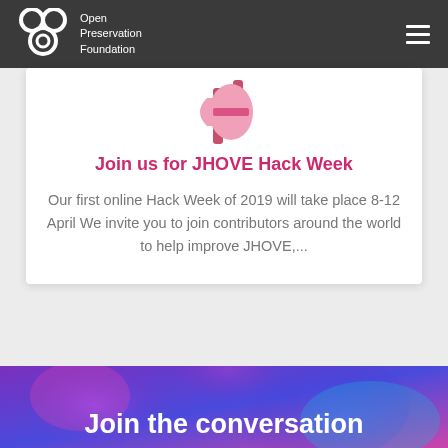Open Preservation Foundation
[Figure (illustration): Megaphone / bullhorn icon in pink and magenta colors, partially visible at top of white card]
Join us for JHOVE Hack Week
Our first online Hack Week of 2019 will take place 8-12 April We invite you to join contributors around the world to help improve JHOVE,...
[Figure (illustration): Colorful abstract background with purple, blue, and pink blobs/shapes for the 'Join the conversation' banner section]
Join the conversation